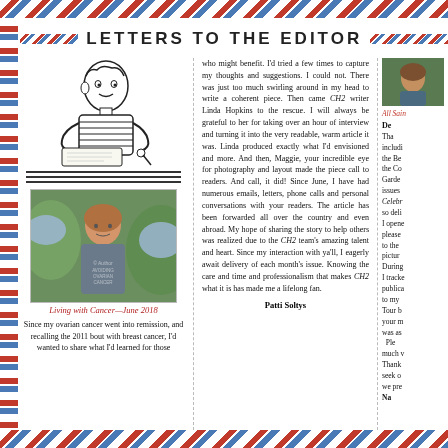LETTERS TO THE EDITOR
[Figure (illustration): Black and white illustration of a boy in a striped shirt writing a letter]
[Figure (photo): Photo of a woman with short hair outdoors with hydrangeas]
Living with Cancer—June 2018
Since my ovarian cancer went into remission, and recalling the 2011 bout with breast cancer, I'd wanted to share what I'd learned for those
who might benefit. I'd tried a few times to capture my thoughts and suggestions. I could not. There was just too much swirling around in my head to write a coherent piece. Then came CH2 writer Linda Hopkins to the rescue. I will always be grateful to her for taking over an hour of interview and turning it into the very readable, warm article it was. Linda produced exactly what I'd envisioned and more. And then, Maggie, your incredible eye for photography and layout made the piece call to readers. And call, it did! Since June, I have had numerous emails, letters, phone calls and personal conversations with your readers. The article has been forwarded all over the country and even abroad. My hope of sharing the story to help others was realized due to the CH2 team's amazing talent and heart. Since my interaction with ya'll, I eagerly await delivery of each month's issue. Knowing the care and time and professionalism that makes CH2 what it is has made me a lifelong fan.
Patti Soltys
All Sain... De... Tha... includi... the Be... the Co... Garde... issues ... Celebr... so deli... I opene... please... to the ... pictur... Durin... I tracke... publica... to my... Tour b... your m... was as... Ple... much v... Thank... seek o... we pre... Na...